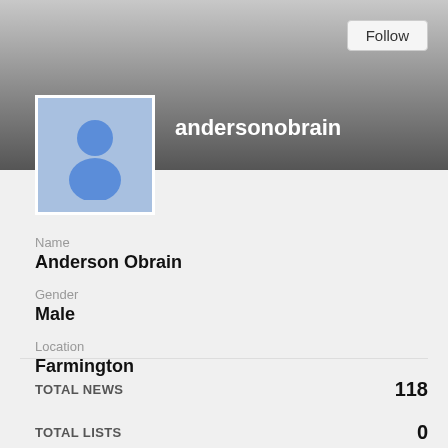[Figure (illustration): User profile avatar placeholder with blue background showing a generic person silhouette icon]
andersonobrain
Follow
Name
Anderson Obrain
Gender
Male
Location
Farmington
TOTAL NEWS	118
TOTAL LISTS	0
TOTAL VIDEOS	0